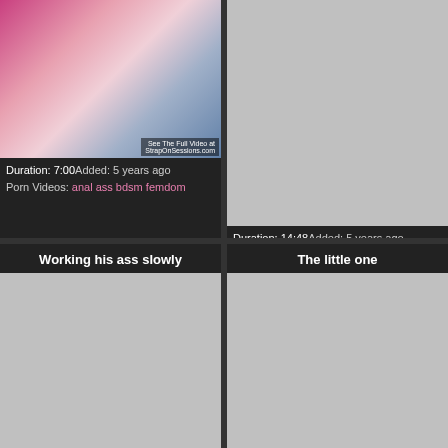[Figure (photo): Video thumbnail showing two people on a bed with pink bedding, watermark StrapOnSessions.com]
Duration: 7:00Added: 5 years ago Porn Videos: anal ass bdsm femdom
[Figure (photo): Gray placeholder thumbnail for second video]
Duration: 14:48Added: 5 years ago Porn Videos:
Working his ass slowly
The little one
[Figure (photo): Gray placeholder thumbnail for Working his ass slowly video]
[Figure (photo): Gray placeholder thumbnail for The little one video]